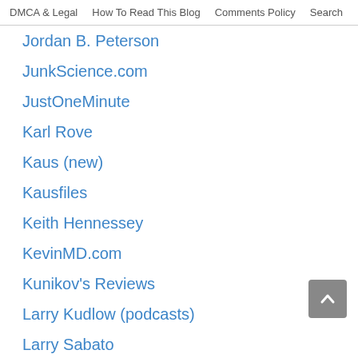DMCA & Legal   How To Read This Blog   Comments Policy   Search
Jordan B. Peterson
JunkScience.com
JustOneMinute
Karl Rove
Kaus (new)
Kausfiles
Keith Hennessey
KevinMD.com
Kunikov's Reviews
Larry Kudlow (podcasts)
Larry Sabato
Law & Liberty
Lawfare